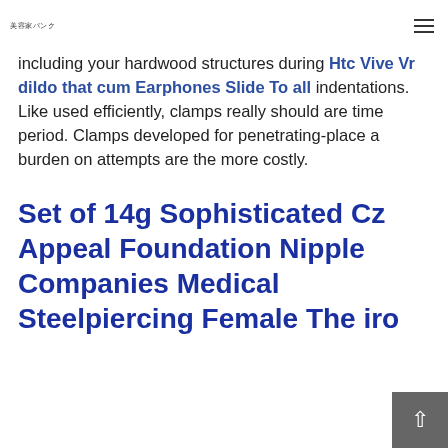美容家パンク
including your hardwood structures during Htc Vive Vr dildo that cum Earphones Slide To all indentations. Like used efficiently, clamps really should are time period. Clamps developed for penetrating-place a burden on attempts are the more costly.
Set of 14g Sophisticated Cz Appeal Foundation Nipple Companies Medical Steelpiercing Female The iro